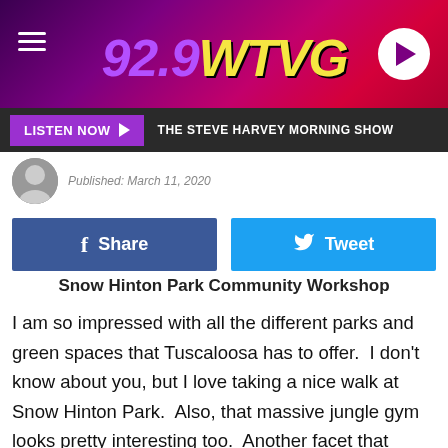[Figure (screenshot): 92.9 WTVG radio station header with purple/pink gradient background, hamburger menu icon on left, 92.9 WTVG logo in center, circular play button on right]
LISTEN NOW ▶  THE STEVE HARVEY MORNING SHOW
Published: March 11, 2020
Share  Tweet
Snow Hinton Park Community Workshop
I am so impressed with all the different parks and green spaces that Tuscaloosa has to offer.  I don't know about you, but I love taking a nice walk at Snow Hinton Park.  Also, that massive jungle gym looks pretty interesting too.  Another facet that impresses me about Tuscaloosa is the City Government and their interest in our City.  I was excited to see that the City of Tuscaloosa – Government is hosting a "Snow Hinton Park Community Workshop" on Thursday,